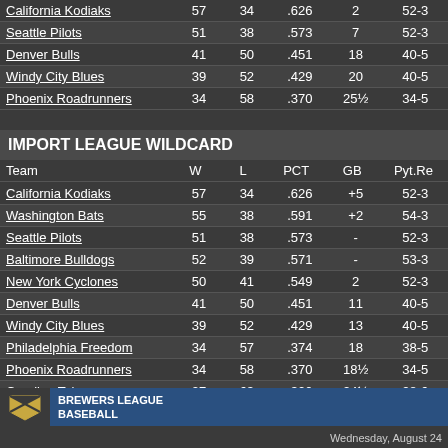| Team | W | L | PCT | GB | Pyt.Re |
| --- | --- | --- | --- | --- | --- |
| California Kodiaks | 57 | 34 | .626 | 2 | 52-3 |
| Seattle Pilots | 51 | 38 | .573 | 7 | 52-3 |
| Denver Bulls | 41 | 50 | .451 | 18 | 40-5 |
| Windy City Blues | 39 | 52 | .429 | 20 | 40-5 |
| Phoenix Roadrunners | 34 | 58 | .370 | 25½ | 34-5 |
IMPORT LEAGUE WILDCARD
| Team | W | L | PCT | GB | Pyt.Re |
| --- | --- | --- | --- | --- | --- |
| California Kodiaks | 57 | 34 | .626 | +5 | 52-3 |
| Washington Bats | 55 | 38 | .591 | +2 | 54-3 |
| Seattle Pilots | 51 | 38 | .573 | - | 52-3 |
| Baltimore Bulldogs | 52 | 39 | .571 | - | 53-3 |
| New York Cyclones | 50 | 41 | .549 | 2 | 52-3 |
| Denver Bulls | 41 | 50 | .451 | 11 | 40-5 |
| Windy City Blues | 39 | 52 | .429 | 13 | 40-5 |
| Philadelphia Freedom | 34 | 57 | .374 | 18 | 38-5 |
| Phoenix Roadrunners | 34 | 58 | .370 | 18½ | 34-5 |
| Carolina Tobs | 27 | 63 | .300 | 24½ | 28-6 |
BREWERS LEAGUE BASEBALL
Wednesday, August 24